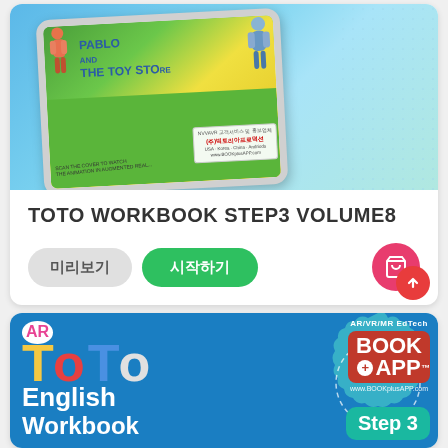[Figure (photo): Book cover displayed on tablet - Pablo and the Toy Store AR book with colorful toy characters, company badge showing (주)빅토리아프로덕션]
TOTO WORKBOOK STEP3 VOLUME8
미리보기   시작하기
[Figure (illustration): AR TOTO English Workbook banner with colorful logo showing AR TOTO letters in yellow, red, blue, white on a blue background with gear shapes and BOOK+APP branding on right showing Step 3]